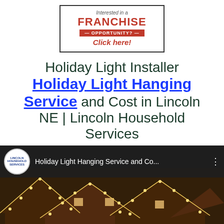[Figure (infographic): Franchise opportunity banner with red text saying 'Interested in a FRANCHISE OPPORTUNITY? Click here!']
Holiday Light Installer Holiday Light Hanging Service and Cost in Lincoln NE | Lincoln Household Services
[Figure (screenshot): YouTube video thumbnail showing Holiday Light Hanging Service and Cost video by Lincoln Household Services, with image of houses decorated with holiday lights]